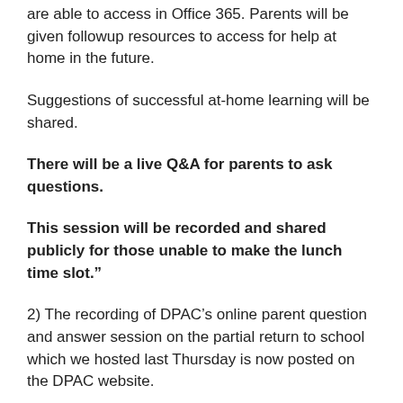are able to access in Office 365. Parents will be given followup resources to access for help at home in the future.
Suggestions of successful at-home learning will be shared.
There will be a live Q&A for parents to ask questions.
This session will be recorded and shared publicly for those unable to make the lunch time slot.”
2) The recording of DPAC’s online parent question and answer session on the partial return to school which we hosted last Thursday is now posted on the DPAC website.
The direct link – http://vancouverdpac.org/s/DPAC_VSB-